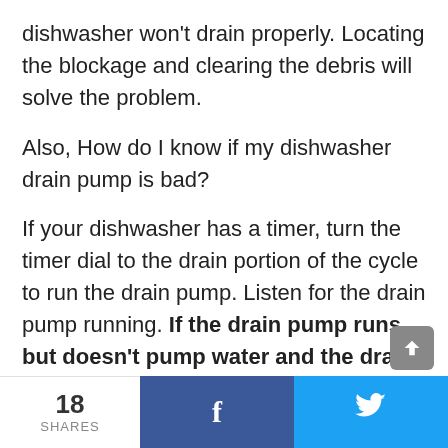dishwasher won't drain properly. Locating the blockage and clearing the debris will solve the problem.
Also, How do I know if my dishwasher drain pump is bad?
If your dishwasher has a timer, turn the timer dial to the drain portion of the cycle to run the drain pump. Listen for the drain pump running. If the drain pump runs but doesn't pump water and the drain path is clear, then the drain pump is likely bad.
Should I run my dishwasher if it has standing water?
18 SHARES   f   🐦